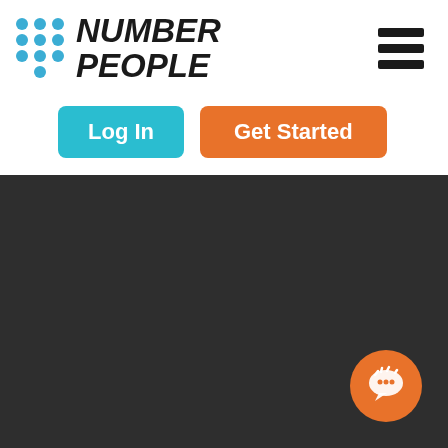[Figure (logo): Number People logo with blue dot grid and bold italic text, plus hamburger menu icon on the right]
[Figure (screenshot): Two buttons: cyan 'Log In' button and orange 'Get Started' button]
[Figure (illustration): Dark gray background section (lower portion of page) with an orange circular chat icon in bottom right corner]